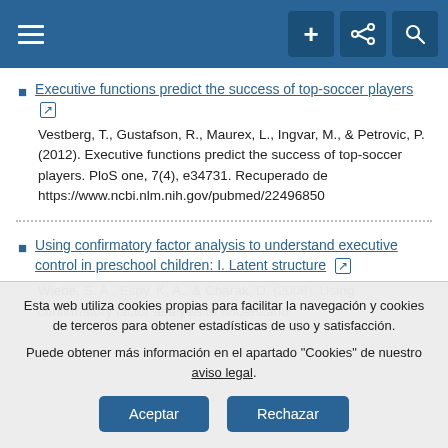Navigation bar with hamburger menu, plus, share, and search buttons
Executive functions predict the success of top-soccer players
Vestberg, T., Gustafson, R., Maurex, L., Ingvar, M., & Petrovic, P. (2012). Executive functions predict the success of top-soccer players. PloS one, 7(4), e34731. Recuperado de https://www.ncbi.nlm.nih.gov/pubmed/22496850
Using confirmatory factor analysis to understand executive control in preschool children: I. Latent structure
Wiebe, S. A., Espy, K. A., & Charak, D. (2008). Using confirmatory factor analysis to understand
Esta web utiliza cookies propias para facilitar la navegación y cookies de terceros para obtener estadísticas de uso y satisfacción.

Puede obtener más información en el apartado "Cookies" de nuestro aviso legal.
Aceptar  Rechazar